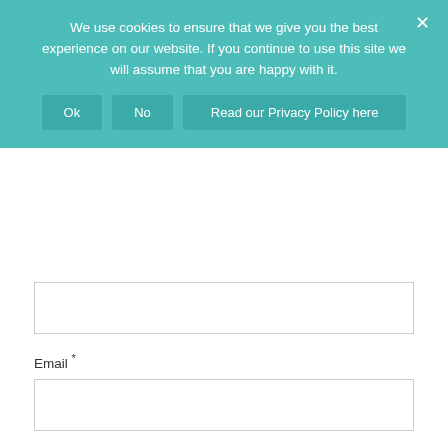We use cookies to ensure that we give you the best experience on our website. If you continue to use this site we will assume that you are happy with it.
Ok | No | Read our Privacy Policy here
Email *
Website
Replies to my comments
Notify me of followup comments via e-mail. You can also